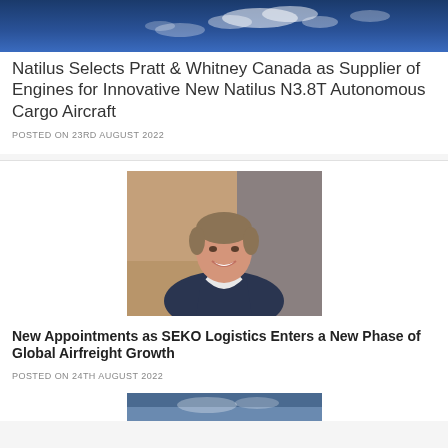[Figure (photo): Dark blue sky with white clouds, aerial/sky view]
Natilus Selects Pratt & Whitney Canada as Supplier of Engines for Innovative New Natilus N3.8T Autonomous Cargo Aircraft
POSTED ON 23RD AUGUST 2022
[Figure (photo): Professional headshot of a smiling middle-aged man in a dark suit jacket and white shirt, seated in an office environment]
New Appointments as SEKO Logistics Enters a New Phase of Global Airfreight Growth
POSTED ON 24TH AUGUST 2022
[Figure (photo): Partial view of another image at the bottom of the page]